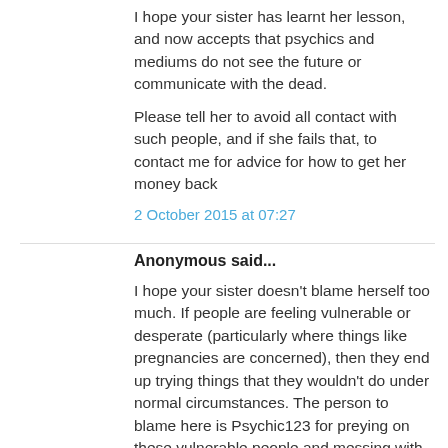I hope your sister has learnt her lesson, and now accepts that psychics and mediums do not see the future or communicate with the dead.
Please tell her to avoid all contact with such people, and if she fails that, to contact me for advice for how to get her money back
2 October 2015 at 07:27
Anonymous said...
I hope your sister doesn't blame herself too much. If people are feeling vulnerable or desperate (particularly where things like pregnancies are concerned), then they end up trying things that they wouldn't do under normal circumstances. The person to blame here is Psychic123 for preying on these vulnerable people and messing with their emotions.
The more I hear about Gail Cuffe and her treatment of customers, the more disgusted I am by her!